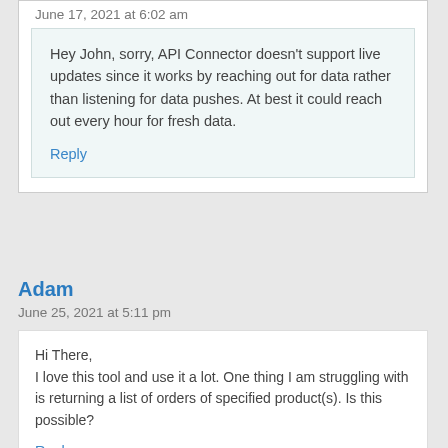June 17, 2021 at 6:02 am
Hey John, sorry, API Connector doesn't support live updates since it works by reaching out for data rather than listening for data pushes. At best it could reach out every hour for fresh data.
Reply
Adam
June 25, 2021 at 5:11 pm
Hi There,
I love this tool and use it a lot. One thing I am struggling with is returning a list of orders of specified product(s). Is this possible?
Reply